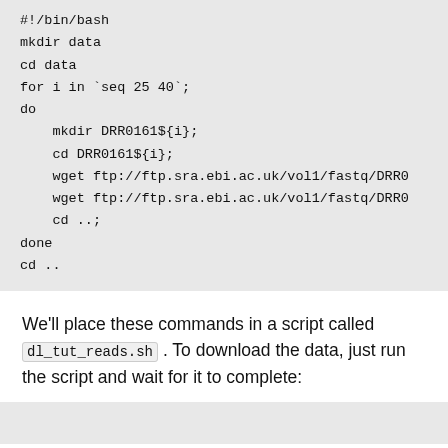#!/bin/bash
mkdir data
cd data
for i in `seq 25 40`;
do
    mkdir DRR0161${i};
    cd DRR0161${i};
    wget ftp://ftp.sra.ebi.ac.uk/vol1/fastq/DRR0
    wget ftp://ftp.sra.ebi.ac.uk/vol1/fastq/DRR0
    cd ..;
done
cd ..
We'll place these commands in a script called dl_tut_reads.sh . To download the data, just run the script and wait for it to complete: